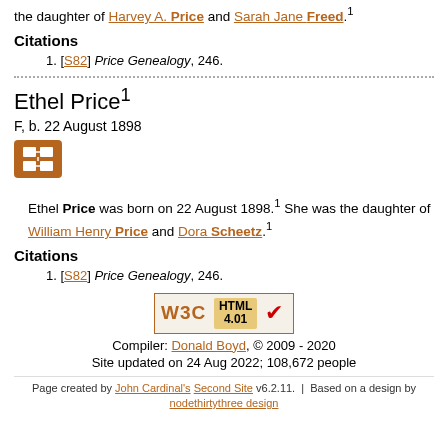the daughter of Harvey A. Price and Sarah Jane Freed.1
Citations
1. [S82] Price Genealogy, 246.
Ethel Price1
F, b. 22 August 1898
Ethel Price was born on 22 August 1898.1 She was the daughter of William Henry Price and Dora Scheetz.1
Citations
1. [S82] Price Genealogy, 246.
[Figure (logo): W3C HTML 4.01 valid badge with red checkmark]
Compiler: Donald Boyd, © 2009 - 2020
Site updated on 24 Aug 2022; 108,672 people
Page created by John Cardinal's Second Site v6.2.11.  |  Based on a design by nodethirtythree design